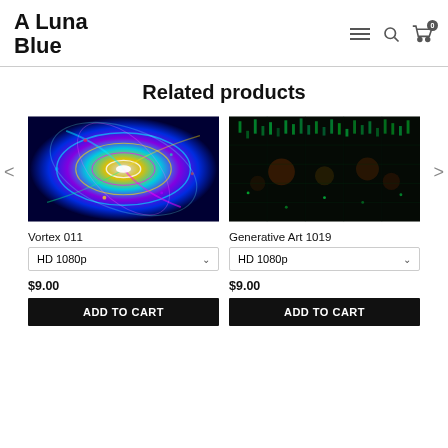A Luna Blue
Related products
[Figure (photo): Colorful psychedelic vortex spiral digital art with vivid blue, yellow, purple colors swirling inward]
Vortex 011
HD 1080p
$9.00
ADD TO CART
[Figure (photo): Dark generative art with green and red pixel patterns on black background, matrix-like digital art]
Generative Art 1019
HD 1080p
$9.00
ADD TO CART